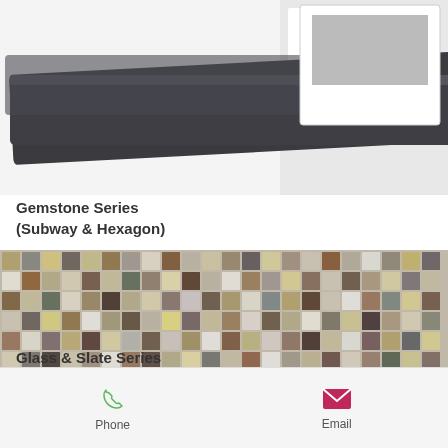[Figure (photo): Close-up photo of dark grey glossy subway tile samples displayed on a white surface with product cards]
Gemstone Series
(Subway & Hexagon)
[Figure (photo): Close-up photo of a mosaic tile pattern mixing glass and stone tiles in brown, tan, grey, and white colors in a small square grid pattern]
Glass & Slate Series
Phone   Email